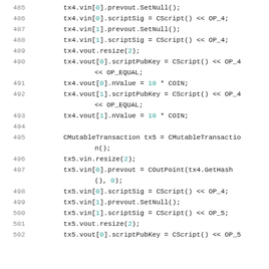[Figure (screenshot): Source code screenshot showing lines 485-502 of C++ code for Bitcoin transaction construction, with syntax highlighting: line numbers in gray, numeric literals and index values in cyan, keyword values in red.]